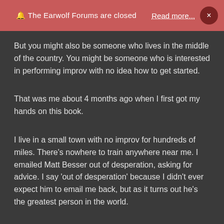🔔 The Earwolf Forums are closed   Read more...   ×
But you might also be someone who lives in the middle of the country. You might be someone who is interested in performing improv with no idea how to get started.
That was me about 4 months ago when I first got my hands on this book.
I live in a small town with no improv for hundreds of miles. There's nowhere to train anywhere near me. I emailed Matt Besser out of desperation, asking for advice. I say 'out of desperation' because I didn't ever expect him to email me back, but as it turns out he's the greatest person in the world.
Anyways, we exchanged some emails, and he mentioned this book. He told me that if I could get a group together and commit to